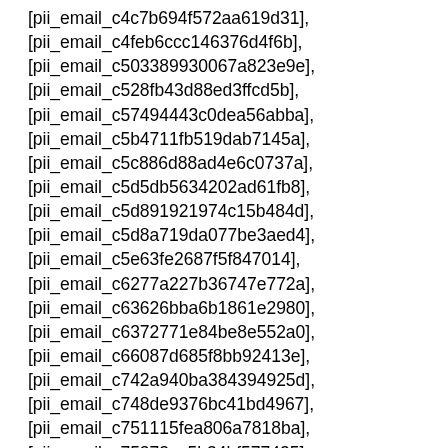[pii_email_c4c7b694f572aa619d31],
[pii_email_c4feb6ccc146376d4f6b],
[pii_email_c503389930067a823e9e],
[pii_email_c528fb43d88ed3ffcd5b],
[pii_email_c57494443c0dea56abba],
[pii_email_c5b4711fb519dab7145a],
[pii_email_c5c886d88ad4e6c0737a],
[pii_email_c5d5db5634202ad61fb8],
[pii_email_c5d891921974c15b484d],
[pii_email_c5d8a719da077be3aed4],
[pii_email_c5e63fe2687f5f847014],
[pii_email_c6277a227b36747e772a],
[pii_email_c63626bba6b1861e2980],
[pii_email_c6372771e84be8e552a0],
[pii_email_c66087d685f8bb92413e],
[pii_email_c742a940ba384394925d],
[pii_email_c748de9376bc41bd4967],
[pii_email_c751115fea806a7818ba],
[pii_email_c75373ce5b34bf577425],